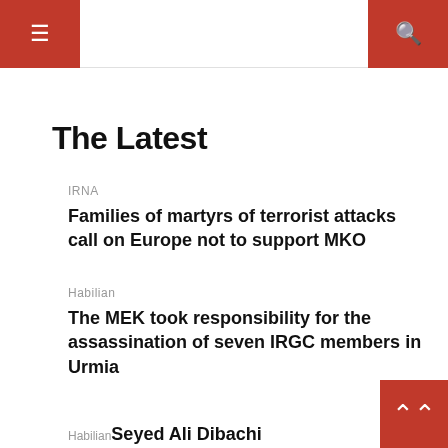≡ [menu] | Q [search]
The Latest
IRNA
Families of martyrs of terrorist attacks call on Europe not to support MKO
Habilian
The MEK took responsibility for the assassination of seven IRGC members in Urmia
Habilian Seyed Ali Dibachi
Habilian Abdolmahdi Tikdarinejad